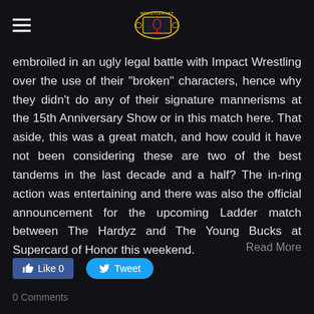WrestleRant logo header
embroiled in an ugly legal battle with Impact Wrestling over the use of their "broken" characters, hence why they didn't do any of their signature mannerisms at the 15th Anniversary Show or in this match here. That aside, this was a great match, and how could it have not been considering these are two of the best tandems in the last decade and a half? The in-ring action was entertaining and there was also the official announcement for the upcoming Ladder match between The Hardyz and The Young Bucks at Supercard of Honor this weekend.
Read More
Like 0
Tweet
0 Comments